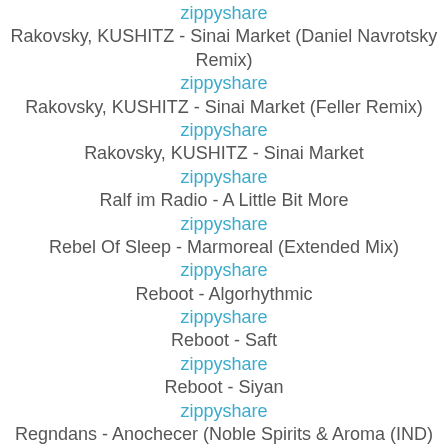zippyshare
Rakovsky, KUSHITZ - Sinai Market (Daniel Navrotsky Remix)
zippyshare
Rakovsky, KUSHITZ - Sinai Market (Feller Remix)
zippyshare
Rakovsky, KUSHITZ - Sinai Market
zippyshare
Ralf im Radio - A Little Bit More
zippyshare
Rebel Of Sleep - Marmoreal (Extended Mix)
zippyshare
Reboot - Algorhythmic
zippyshare
Reboot - Saft
zippyshare
Reboot - Siyan
zippyshare
Regndans - Anochecer (Noble Spirits & Aroma (IND) Remix)
zippyshare
Regndans - Djinn (Markus Wesen Remix)
zippyshare